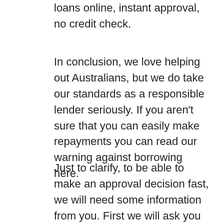loans online, instant approval, no credit check.
In conclusion, we love helping out Australians, but we do take our standards as a responsible lender seriously. If you aren't sure that you can easily make repayments you can read our warning against borrowing here.
Just to clarify, to be able to make an approval decision fast, we will need some information from you. First we will ask you to verify your legal identity and regular income in order to process any cash loans online, and then 90 days worth of bank statements will be required with your application. But don't worry, this is done with an online verification system.